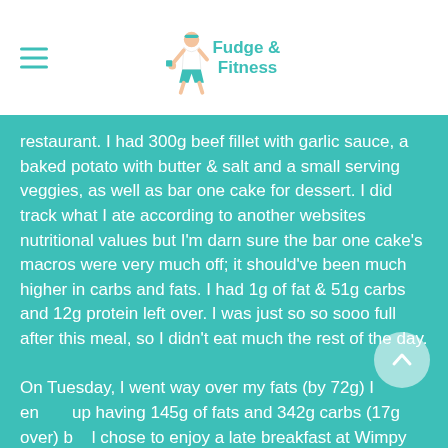Fudge & Fitness
restaurant. I had 300g beef fillet with garlic sauce, a baked potato with butter & salt and a small serving veggies, as well as bar one cake for dessert. I did track what I ate according to another websites nutritional values but I'm darn sure the bar one cake's macros were very much off; it should've been much higher in carbs and fats. I had 1g of fat & 51g carbs and 12g protein left over. I was just so so sooo full after this meal, so I didn't eat much the rest of the day.

On Tuesday, I went way over my fats (by 72g) I ended up having 145g of fats and 342g carbs (17g over) but I chose to enjoy a late breakfast at Wimpy with my friend, we had a bar one milkshake and a chicken mayo baguette. I used the food to fuel my leg session later the day.